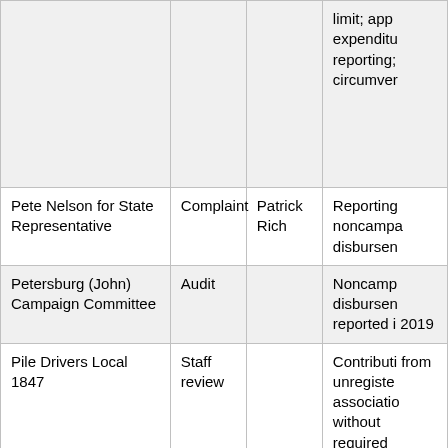| Name | Type | Complainant | Issue |
| --- | --- | --- | --- |
|  |  |  | limit; app expenditu reporting; circumver |
| Pete Nelson for State Representative | Complaint | Patrick Rich | Reporting noncampa disbursen |
| Petersburg (John) Campaign Committee | Audit |  | Noncamp disbursen reported i 2019 |
| Pile Drivers Local 1847 | Staff review |  | Contributi from unregister associatio without required disclosure |
| Pine County DFL | Complaint | Mark Nisley | Reporting |
| Pipe Fitters Local 539 | Staff review |  | Contributi from unregiste |